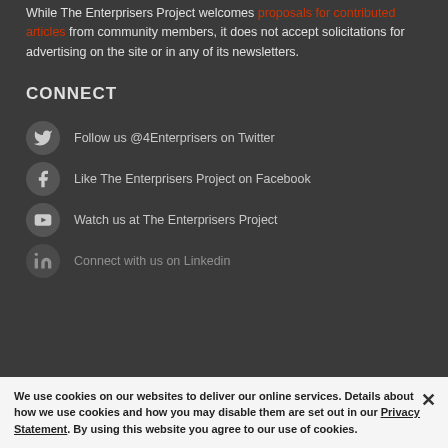While The Enterprisers Project welcomes proposals for contributed articles from community members, it does not accept solicitations for advertising on the site or in any of its newsletters.
CONNECT
Follow us @4Enterprisers on Twitter
Like The Enterprisers Project on Facebook
Watch us at The Enterprisers Project
Connect with us on Linkedin
We use cookies on our websites to deliver our online services. Details about how we use cookies and how you may disable them are set out in our Privacy Statement. By using this website you agree to our use of cookies.
Copyright ©2022 R...